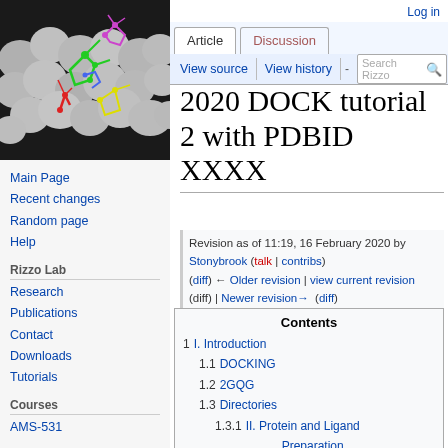[Figure (photo): 3D molecular docking visualization showing a protein surface (gray blobs) with colorful ligand molecules (green, red, yellow, blue, magenta) docked in a binding site against a black background]
Main Page
Recent changes
Random page
Help
Rizzo Lab
Research
Publications
Contact
Downloads
Tutorials
Courses
AMS-531
Log in
2020 DOCK tutorial 2 with PDBID XXXX
Revision as of 11:19, 16 February 2020 by Stonybrook (talk | contribs)
(diff) ← Older revision | view current revision (diff) | Newer revision → (diff)
| Contents |
| --- |
| 1 I. Introduction |
| 1.1 DOCKING |
| 1.2 2GQG |
| 1.3 Directories |
| 1.3.1 II. Protein and Ligand Preparation |